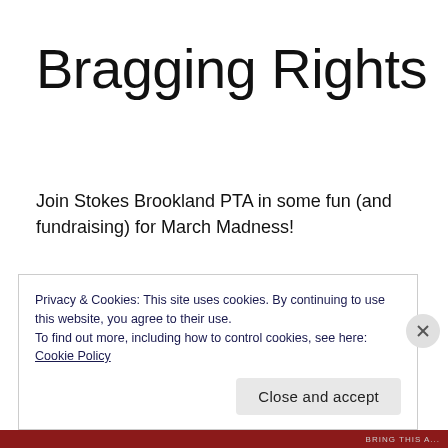Bragging Rights
Join Stokes Brookland PTA in some fun (and fundraising) for March Madness!
Stokes staff and families are invited to play a March Madness bracket competition. Fill out a
Privacy & Cookies: This site uses cookies. By continuing to use this website, you agree to their use.
To find out more, including how to control cookies, see here: Cookie Policy
Close and accept